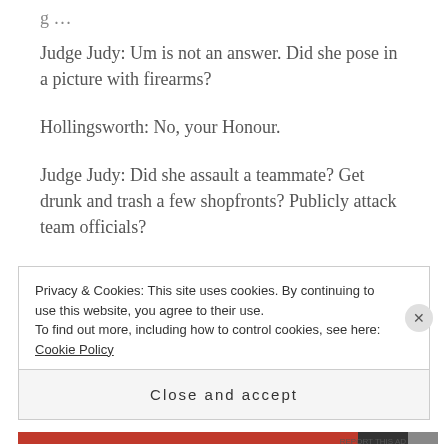Judge Judy: Um is not an answer. Did she pose in a picture with firearms?
Hollingsworth: No, your Honour.
Judge Judy: Did she assault a teammate? Get drunk and trash a few shopfronts? Publicly attack team officials?
Hollingsworth: No, no, nothing like that.
Privacy & Cookies: This site uses cookies. By continuing to use this website, you agree to their use. To find out more, including how to control cookies, see here: Cookie Policy
Close and accept